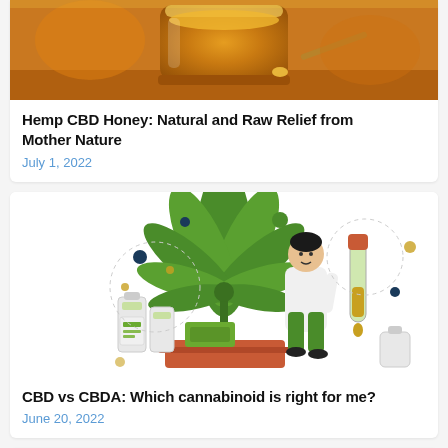[Figure (photo): Close-up photo of a glass jar of golden honey on a wooden surface, warm amber tones]
Hemp CBD Honey: Natural and Raw Relief from Mother Nature
July 1, 2022
[Figure (illustration): Illustration of a scientist figure in white coat standing next to a large cannabis/hemp leaf, with CBD oil bottles and a test tube with dropper, green and terracotta color scheme with decorative dashed circle outlines and dots]
CBD vs CBDA: Which cannabinoid is right for me?
June 20, 2022
[Figure (illustration): Partial illustration showing hemp/cannabis leaves at the bottom of the page, cropped]